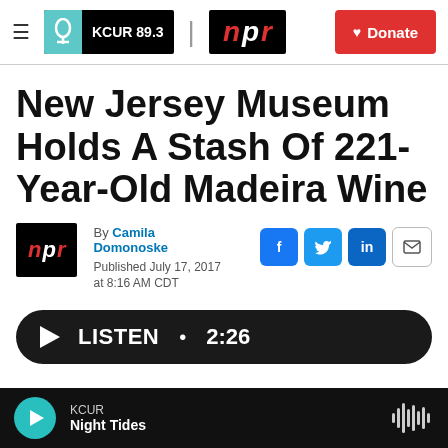KCUR 89.3 | npr | Donate
New Jersey Museum Holds A Stash Of 221-Year-Old Madeira Wine
By Camila Domonoske
Published July 17, 2017 at 8:16 AM CDT
LISTEN • 2:26
KCUR Night Tides